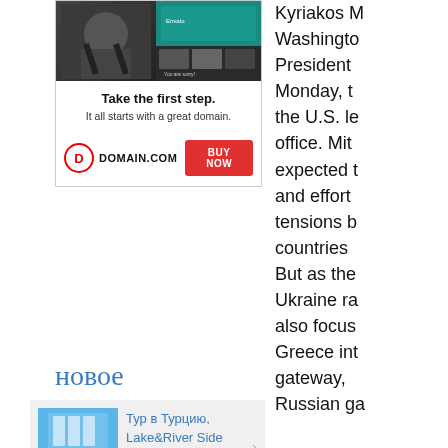[Figure (other): Advertisement banner for domain.com showing a tattooed person on left, website screenshot on right, with text 'Take the first step. It all starts with a great domain.' and a red BUY NOW button]
новое
[Figure (other): Tour card with hotel/marina photo - Тур в Турцию, Lake&River Side Hotel&SPA 5* от 820$]
[Figure (other): Tour card with hotel exterior photo - Тур в Турцию, Анталия, Santamarina Hotel 4* от]
Kyriakos M Washington President Monday, t the U.S. le office. Mit expected t and effort tensions b countries But as the Ukraine ra also focus Greece int gateway, Russian ga